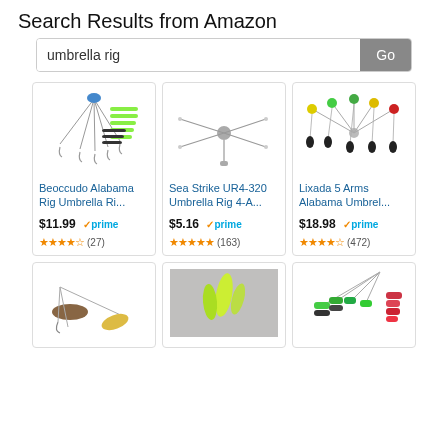Search Results from Amazon
umbrella rig
[Figure (screenshot): Product grid showing Amazon search results for 'umbrella rig' fishing lures. Row 1: Beoccudo Alabama Rig Umbrella Ri... $11.99 prime 3.5 stars (27), Sea Strike UR4-320 Umbrella Rig 4-A... $5.16 prime 4.5 stars (163), Lixada 5 Arms Alabama Umbrel... $18.98 prime 4 stars (472). Row 2: Three more partially visible product images.]